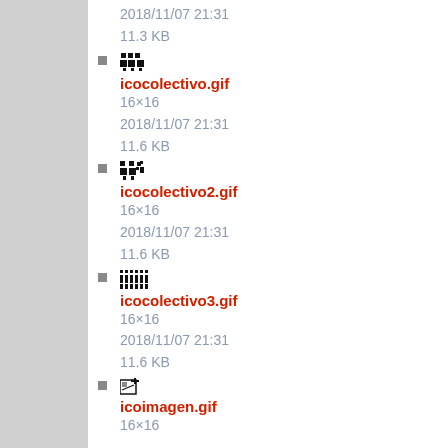2018/11/07 21:31
11.3 KB
icocolectivo.gif
16×16
2018/11/07 21:31
11.6 KB
icocolectivo2.gif
16×16
2018/11/07 21:31
11.6 KB
icocolectivo3.gif
16×16
2018/11/07 21:31
11.6 KB
icoimagen.gif
16×16